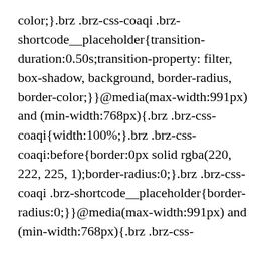color;}.brz .brz-css-coaqi .brz-shortcode__placeholder{transition-duration:0.50s;transition-property: filter, box-shadow, background, border-radius, border-color;}}@media(max-width:991px) and (min-width:768px){.brz .brz-css-coaqi{width:100%;}.brz .brz-css-coaqi:before{border:0px solid rgba(220, 222, 225, 1);border-radius:0;}.brz .brz-css-coaqi .brz-shortcode__placeholder{border-radius:0;}}@media(max-width:991px) and (min-width:768px){.brz .brz-css-